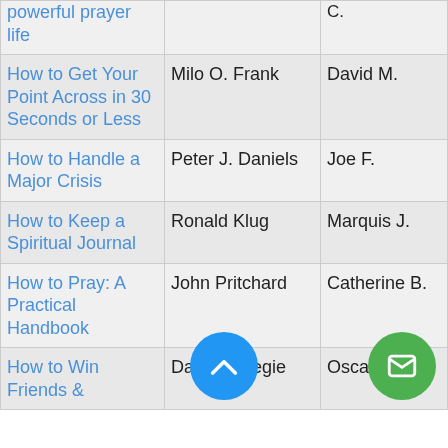| Title | Author | Publisher |
| --- | --- | --- |
| powerful prayer life | C. |  |
| How to Get Your Point Across in 30 Seconds or Less | Milo O. Frank | David M. |
| How to Handle a Major Crisis | Peter J. Daniels | Joe F. |
| How to Keep a Spiritual Journal | Ronald Klug | Marquis J. |
| How to Pray: A Practical Handbook | John Pritchard | Catherine B. |
| How to Win Friends & | Dale Carnegie | Oscar J. |